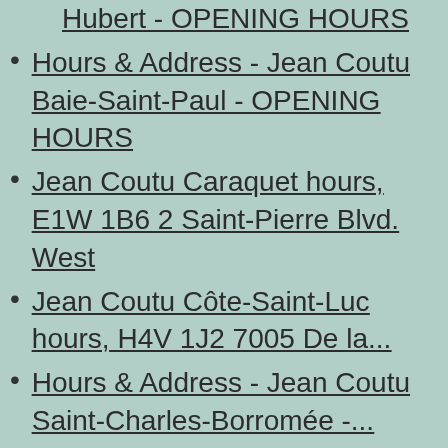Hubert - OPENING HOURS
Hours & Address - Jean Coutu Baie-Saint-Paul - OPENING HOURS
Jean Coutu Caraquet hours, E1W 1B6 2 Saint-Pierre Blvd. West
Jean Coutu Côte-Saint-Luc hours, H4V 1J2 7005 De la...
Hours & Address - Jean Coutu Saint-Charles-Borromée -...
Hours & Address - Pharmacy Jean-Marc Deslongchamps of...
Hours & Address - Jean Coutu Saint-Eustache - OPENING HOURS